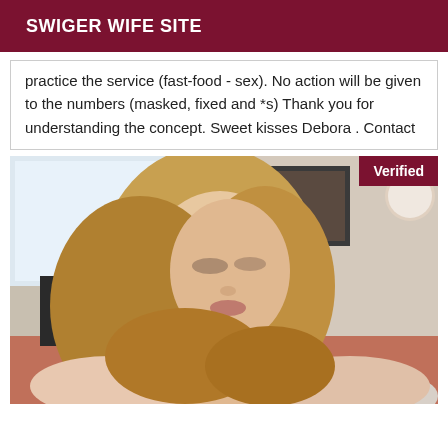SWIGER WIFE SITE
practice the service (fast-food - sex). No action will be given to the numbers (masked, fixed and *s) Thank you for understanding the concept. Sweet kisses Debora . Contact
[Figure (photo): Blonde woman photographed from above in a cafe/restaurant setting, verified listing photo with 'Verified' badge in top right corner]